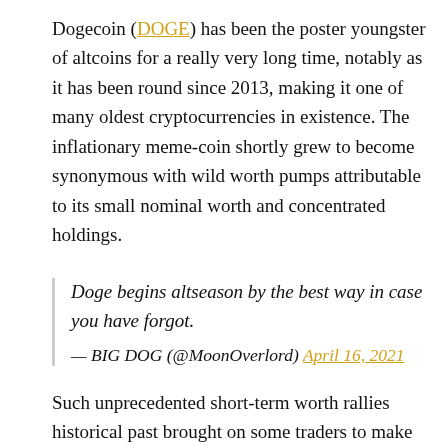Dogecoin (DOGE) has been the poster youngster of altcoins for a really very long time, notably as it has been round since 2013, making it one of many oldest cryptocurrencies in existence. The inflationary meme-coin shortly grew to become synonymous with wild worth pumps attributable to its small nominal worth and concentrated holdings.
Doge begins altseason by the best way in case you have forgot.
— BIG DOG (@MoonOverlord) April 16, 2021
Such unprecedented short-term worth rallies historical past brought on some traders to make use of DOGE worth as a number one indicator for an altcoin season.
However this in all probability does make some sense. In spite of everything, Dogecoin is nothing greater than a